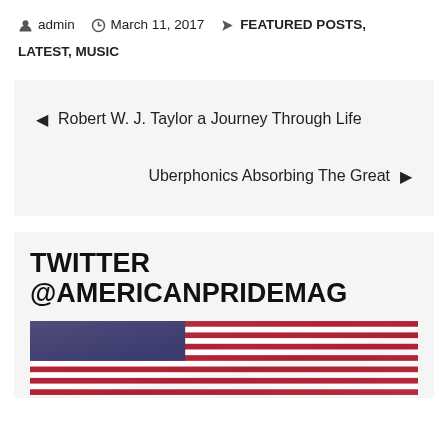admin   March 11, 2017   FEATURED POSTS, LATEST, MUSIC
◄ Robert W. J. Taylor a Journey Through Life
Uberphonics Absorbing The Great ►
TWITTER @AMERICANPRIDEMAG
[Figure (photo): American flag waving, red white and blue stripes and stars]